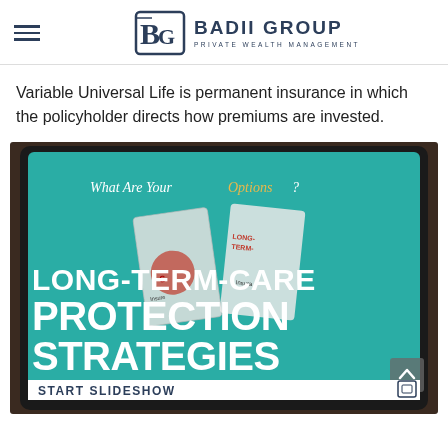BADII GROUP | PRIVATE WEALTH MANAGEMENT
Variable Universal Life is permanent insurance in which the policyholder directs how premiums are invested.
[Figure (screenshot): Screenshot of a tablet displaying a slideshow slide titled 'LONG-TERM-CARE PROTECTION STRATEGIES' with subtitle 'What Are Your Options?' on a teal/blue-green background, with insurance brochure images visible. A 'START SLIDESHOW' bar appears at the bottom.]